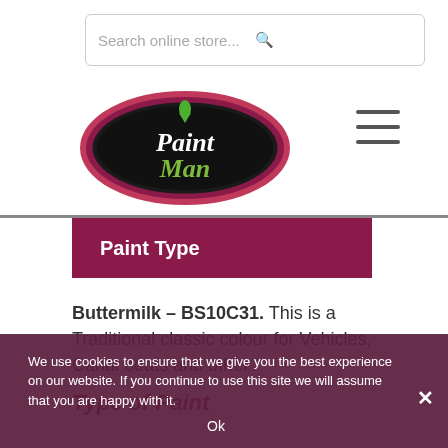[Figure (other): Search bar with placeholder text 'Search online store...' and a search icon on the right]
[Figure (logo): Paint Man logo: oval shape with dark background, pink/red border, white and green script text 'Paint Man' with a green paint drop above]
[Figure (other): Hamburger menu icon (three horizontal lines)]
Paint Type
Buttermilk – BS10C31. This is a Traditional classic colour for Vehicles, Canal boats and other
Type of Paint
We use cookies to ensure that we give you the best experience on our website. If you continue to use this site we will assume that you are happy with it.
Ok